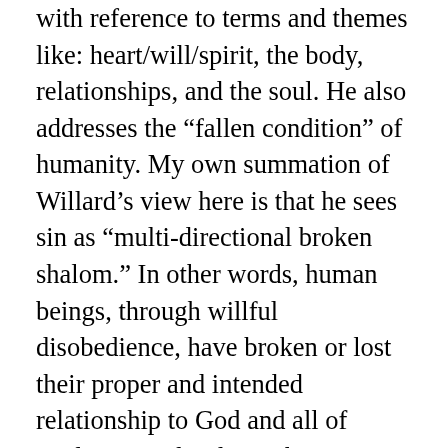with reference to terms and themes like: heart/will/spirit, the body, relationships, and the soul. He also addresses the “fallen condition” of humanity. My own summation of Willard’s view here is that he sees sin as “multi-directional broken shalom.” In other words, human beings, through willful disobedience, have broken or lost their proper and intended relationship to God and all of God’s created order. “The overarching result is demonstrated in a collective societal disorientation and blindness to the essentia Dei, God’s purposes, and the realities of his kingdom” (110). I find the following passage to be one of the most important of this section...